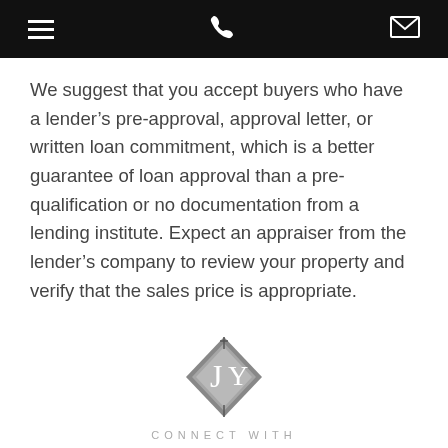[hamburger menu] [phone icon] [mail icon]
We suggest that you accept buyers who have a lender’s pre-approval, approval letter, or written loan commitment, which is a better guarantee of loan approval than a pre-qualification or no documentation from a lending institute. Expect an appraiser from the lender’s company to review your property and verify that the sales price is appropriate.
[Figure (logo): JY diamond monogram logo for Jeff Yarbrough]
CONNECT WITH
Jeff Yarbrough